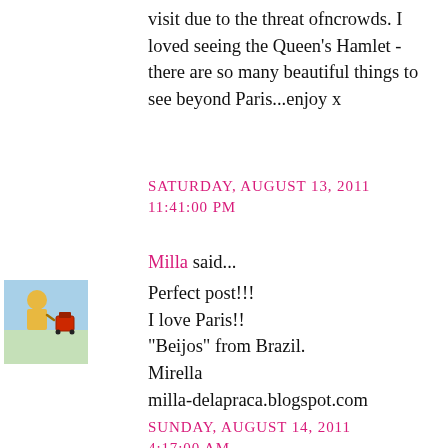visit due to the threat ofncrowds. I loved seeing the Queen's Hamlet - there are so many beautiful things to see beyond Paris...enjoy x
SATURDAY, AUGUST 13, 2011 11:41:00 PM
Milla said...
Perfect post!!!
I love Paris!!
"Beijos" from Brazil.
Mirella
milla-delapraca.blogspot.com
SUNDAY, AUGUST 14, 2011 4:17:00 AM
Fashion-isha said...
Wow your photos are just beautiful and I